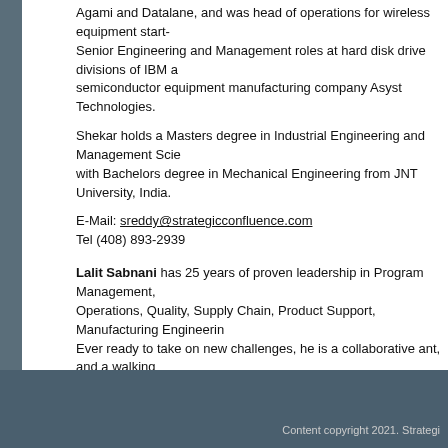Agami and Datalane, and was head of operations for wireless equipment start- Senior Engineering and Management roles at hard disk drive divisions of IBM a semiconductor equipment manufacturing company Asyst Technologies.
Shekar holds a Masters degree in Industrial Engineering and Management Scie with Bachelors degree in Mechanical Engineering from JNT University, India.
E-Mail: sreddy@strategicconfluence.com
Tel (408) 893-2939
Lalit Sabnani has 25 years of proven leadership in Program Management, Operations, Quality, Supply Chain, Product Support, Manufacturing Engineerin Ever ready to take on new challenges, he is a collaborative ant, and a walking producing results.
Lalit from humble beginnings as a software writer for Amperif Corporation, a st semiconductor equipment, at Applied Materials, he has held positions of increa
Lalit holds a Masters degree in Industrial Engineering and Management Scien Bachelors degree in Mechanical Engineering from MS University, India. He is A
E-mail: lsabnani@strategicconfluence.com
Tel: (408) 623-1710
Content copyright 2021. Strategi